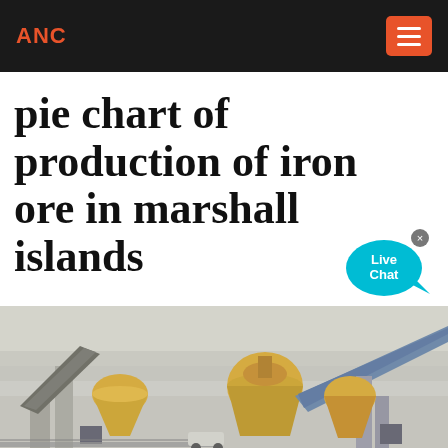ANC
pie chart of production of iron ore in marshall islands
[Figure (photo): Industrial iron ore mining/crushing facility with yellow machinery, conveyor belts, and grey dusty sky background]
[Figure (other): Live Chat button bubble (blue circular chat widget with 'Live Chat' text and close X button)]